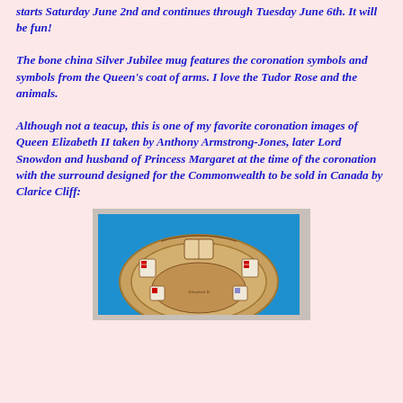starts Saturday June 2nd and continues through Tuesday June 6th. It will be fun!
The bone china Silver Jubilee mug features the coronation symbols and symbols from the Queen's coat of arms. I love the Tudor Rose and the animals.
Although not a teacup, this is one of my favorite coronation images of Queen Elizabeth II taken by Anthony Armstrong-Jones, later Lord Snowdon and husband of Princess Margaret at the time of the coronation with the surround designed for the Commonwealth to be sold in Canada by Clarice Cliff:
[Figure (photo): A decorative commemorative plate with a blue background showing a coronation plate with heraldic symbols, coat of arms imagery, and ornate brown/gold border designs associated with Queen Elizabeth II coronation memorabilia by Clarice Cliff.]